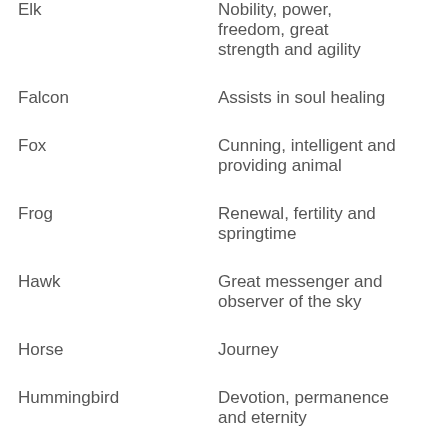| Animal | Meaning |
| --- | --- |
| Elk | Nobility, power, freedom, great strength and agility |
| Falcon | Assists in soul healing |
| Fox | Cunning, intelligent and providing animal |
| Frog | Renewal, fertility and springtime |
| Hawk | Great messenger and observer of the sky |
| Horse | Journey |
| Hummingbird | Devotion, permanence and eternity |